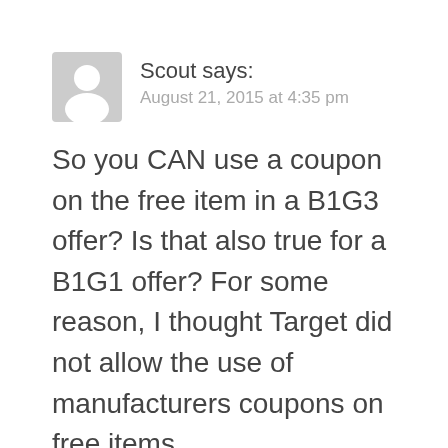[Figure (illustration): Generic user avatar icon — a grey rounded square with a white silhouette of a person (head and shoulders)]
Scout says:
August 21, 2015 at 4:35 pm
So you CAN use a coupon on the free item in a B1G3 offer? Is that also true for a B1G1 offer? For some reason, I thought Target did not allow the use of manufacturers coupons on free items.